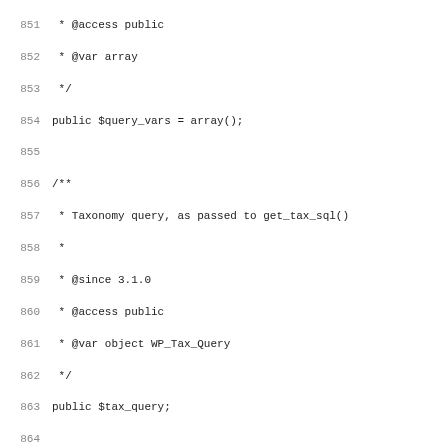Code listing lines 851-883 showing PHP class properties with PHPDoc comments for $query_vars, $tax_query, $meta_query, and $date_query